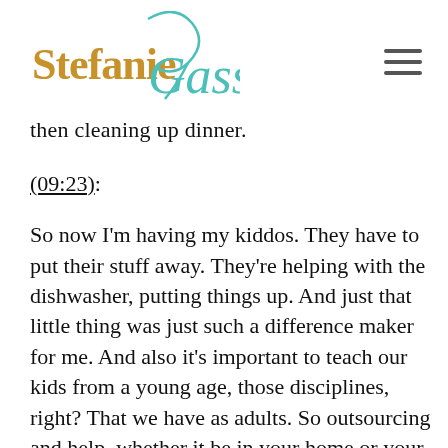Stefanie Gass
then cleaning up dinner.
(09:23):
So now I'm having my kiddos. They have to put their stuff away. They're helping with the dishwasher, putting things up. And just that little thing was just such a difference maker for me. And also it's important to teach our kids from a young age, those disciplines, right? That we have as adults. So outsourcing and help, whether it be in your home or your business. You know, this